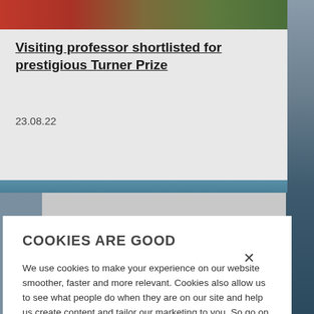[Figure (photo): Top banner photo showing a person in red clothing outdoors with greenery, partially visible]
Visiting professor shortlisted for prestigious Turner Prize
23.08.22
COOKIES ARE GOOD
We use cookies to make your experience on our website smoother, faster and more relevant. Cookies also allow us to see what people do when they are on our site and help us create content and tailor our marketing to you. So go on, click 'yes to all cookies'. Review our Website Privacy Policy
Yes to all cookies
Let me choose